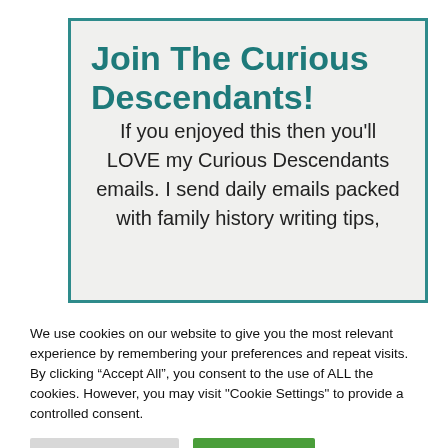Join The Curious Descendants!
If you enjoyed this then you'll LOVE my Curious Descendants emails. I send daily emails packed with family history writing tips,
We use cookies on our website to give you the most relevant experience by remembering your preferences and repeat visits. By clicking “Accept All”, you consent to the use of ALL the cookies. However, you may visit "Cookie Settings" to provide a controlled consent.
Cookie Settings
Accept All